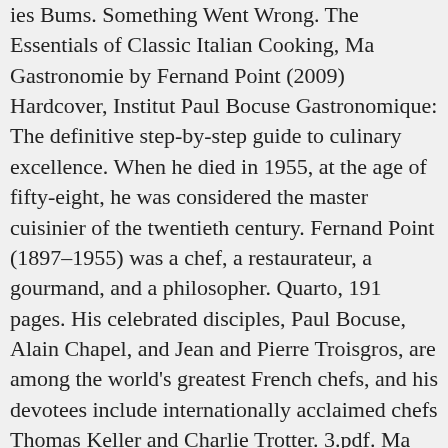ies Bums. Something Went Wrong. The Essentials of Classic Italian Cooking, Ma Gastronomie by Fernand Point (2009) Hardcover, Institut Paul Bocuse Gastronomique: The definitive step-by-step guide to culinary excellence. When he died in 1955, at the age of fifty-eight, he was considered the master cuisinier of the twentieth century. Fernand Point (1897–1955) was a chef, a restaurateur, a gourmand, and a philosopher. Quarto, 191 pages. His celebrated disciples, Paul Bocuse, Alain Chapel, and Jean and Pierre Troisgros, are among the world's greatest French chefs, and his devotees include internationally acclaimed chefs Thomas Keller and Charlie Trotter. 3.pdf. Ma Gastronomie. A book to be savoured morsel by morsel by both pros and enthusiastic foodies/home cooks. Learn more about Import fee deposit here. 4 Braudel, Fernand - Afterthoughts on Material Civilization an. Publishing History This is a chart to show the publishing history of editions of works about this